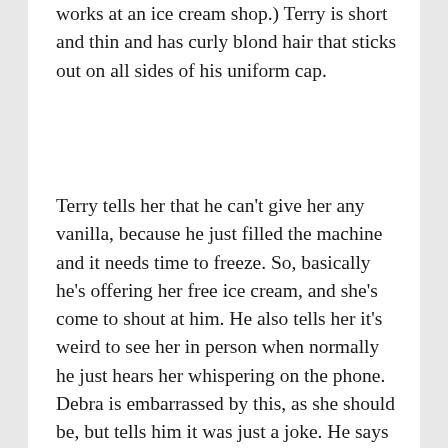works at an ice cream shop.) Terry is short and thin and has curly blond hair that sticks out on all sides of his uniform cap.
Terry tells her that he can't give her any vanilla, because he just filled the machine and it needs time to freeze. So, basically he's offering her free ice cream, and she's come to shout at him. He also tells her it's weird to see her in person when normally he just hears her whispering on the phone. Debra is embarrassed by this, as she should be, but tells him it was just a joke. He says he knew it was her the whole time, and he's always known she was hot for his bod. Debra tells him to shut up, and that she's not there to talk about her phone calls, she's there to talk about his behavior from his time when she...